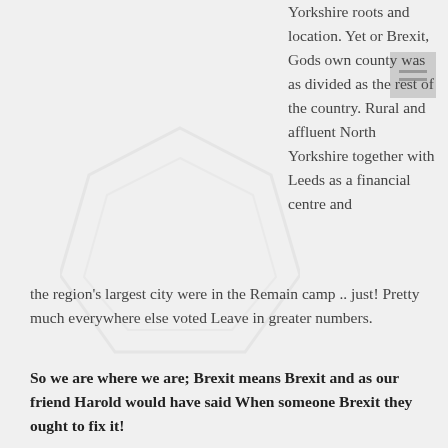Yorkshire roots and location. Yet on Brexit, Gods own county was as divided as the rest of the country. Rural and affluent North Yorkshire together with Leeds as a financial centre and the region's largest city were in the Remain camp .. just! Pretty much everywhere else voted Leave in greater numbers.
So we are where we are; Brexit means Brexit and as our friend Harold would have said When someone Brexit they ought to fix it!